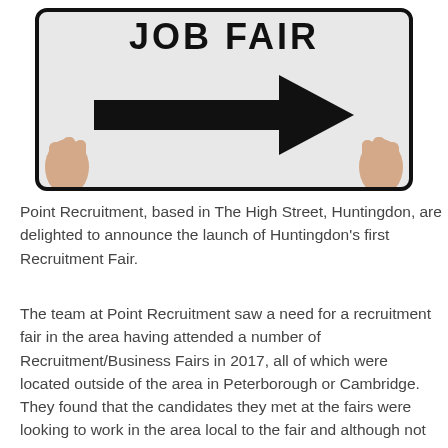[Figure (illustration): A person holding a road sign with a large black right-pointing arrow on a light grey background with black border and rounded corners. The top of the sign shows partial text 'JOB FAIR'. Hands visible at left and right sides of the sign.]
Point Recruitment, based in The High Street, Huntingdon, are delighted to announce the launch of Huntingdon's first Recruitment Fair.
The team at Point Recruitment saw a need for a recruitment fair in the area having attended a number of Recruitment/Business Fairs in 2017, all of which were located outside of the area in Peterborough or Cambridge. They found that the candidates they met at the fairs were looking to work in the area local to the fair and although not far, Huntingdon and the surrounding areas such as St Ives and St Neots were considered by many to be too far. Not to